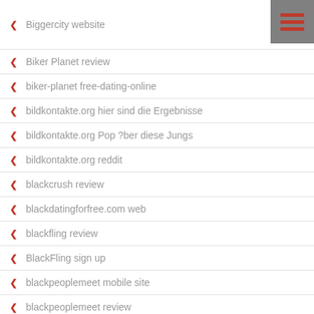Biggercity website
Biker Planet review
biker-planet free-dating-online
bildkontakte.org hier sind die Ergebnisse
bildkontakte.org Pop ?ber diese Jungs
bildkontakte.org reddit
blackcrush review
blackdatingforfree.com web
blackfling review
BlackFling sign up
blackpeoplemeet mobile site
blackpeoplemeet review